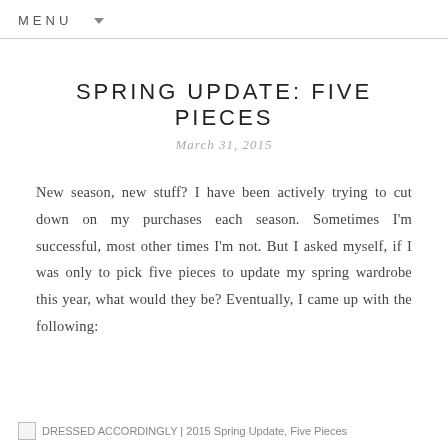MENU
SPRING UPDATE: FIVE PIECES
March 31, 2015
New season, new stuff? I have been actively trying to cut down on my purchases each season. Sometimes I'm successful, most other times I'm not. But I asked myself, if I was only to pick five pieces to update my spring wardrobe this year, what would they be? Eventually, I came up with the following:
DRESSED ACCORDINGLY | 2015 Spring Update, Five Pieces